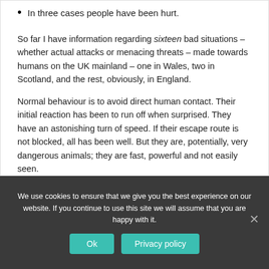In three cases people have been hurt.
So far I have information regarding sixteen bad situations – whether actual attacks or menacing threats – made towards humans on the UK mainland – one in Wales, two in Scotland, and the rest, obviously, in England.
Normal behaviour is to avoid direct human contact. Their initial reaction has been to run off when surprised. They have an astonishing turn of speed. If their escape route is not blocked, all has been well. But they are, potentially, very dangerous animals; they are fast, powerful and not easily seen.
We use cookies to ensure that we give you the best experience on our website. If you continue to use this site we will assume that you are happy with it.